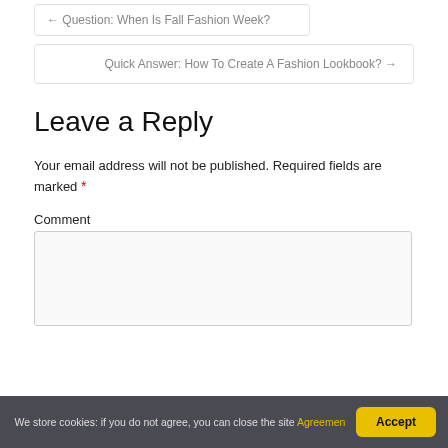← Question: When Is Fall Fashion Week?
Quick Answer: How To Create A Fashion Lookbook? →
Leave a Reply
Your email address will not be published. Required fields are marked *
Comment
We store cookies: if you do not agree, you can close the site Agreemen